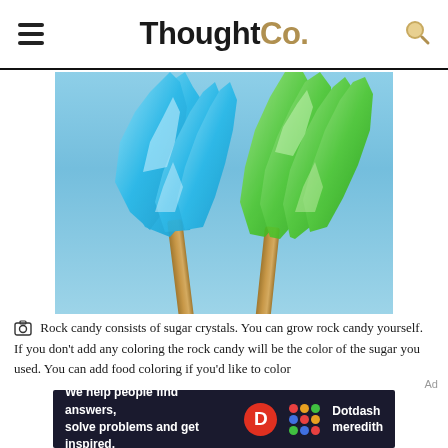ThoughtCo.
[Figure (photo): Two rock candy sticks — one blue and one green — with large sugar crystals growing on wooden sticks, photographed against a light blue sky background.]
Rock candy consists of sugar crystals. You can grow rock candy yourself. If you don't add any coloring the rock candy will be the color of the sugar you used. You can add food coloring if you'd like to color
[Figure (logo): Dotdash Meredith advertisement banner: 'We help people find answers, solve problems and get inspired.' with Dotdash Meredith logo.]